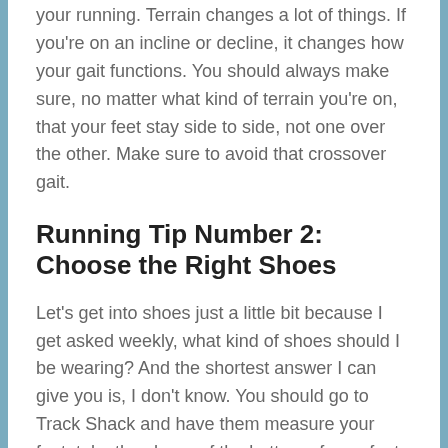your running. Terrain changes a lot of things. If you're on an incline or decline, it changes how your gait functions. You should always make sure, no matter what kind of terrain you're on, that your feet stay side to side, not one over the other. Make sure to avoid that crossover gait.
Running Tip Number 2: Choose the Right Shoes
Let's get into shoes just a little bit because I get asked weekly, what kind of shoes should I be wearing? And the shortest answer I can give you is, I don't know. You should go to Track Shack and have them measure your feet, take the shape of the bottom of your foot, and then give you their idea of what shoe you should be wearing. Because they do